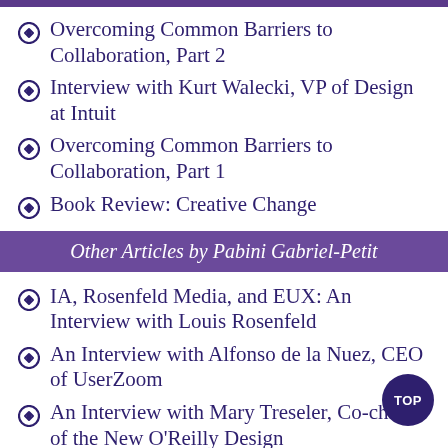Overcoming Common Barriers to Collaboration, Part 2
Interview with Kurt Walecki, VP of Design at Intuit
Overcoming Common Barriers to Collaboration, Part 1
Book Review: Creative Change
Other Articles by Pabini Gabriel-Petit
IA, Rosenfeld Media, and EUX: An Interview with Louis Rosenfeld
An Interview with Alfonso de la Nuez, CEO of UserZoom
An Interview with Mary Treseler, Co-chair of the New O'Reilly Design